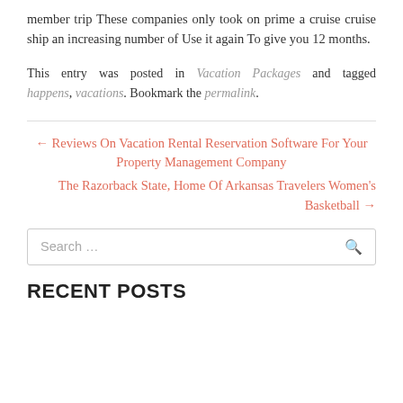member trip These companies only took on prime a cruise cruise ship an increasing number of Use it again To give you 12 months.
This entry was posted in Vacation Packages and tagged happens, vacations. Bookmark the permalink.
← Reviews On Vacation Rental Reservation Software For Your Property Management Company
The Razorback State, Home Of Arkansas Travelers Women's Basketball →
Search …
RECENT POSTS